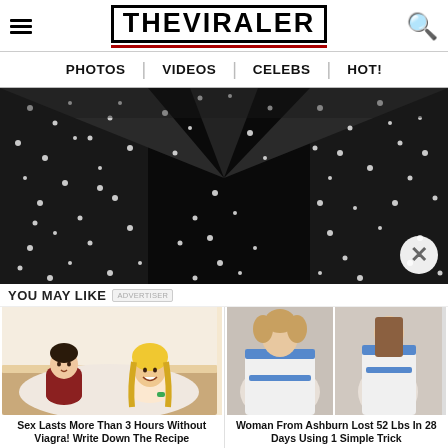THE VIRALER
[Figure (screenshot): Navigation bar with PHOTOS | VIDEOS | CELEBS | HOT! links]
[Figure (photo): Close-up photo of a woman wearing a black sequined/beaded dress or top, showing the neckline and torso area]
YOU MAY LIKE
[Figure (illustration): Illustrated image of a man and woman in an intimate/romantic cartoon scene]
Sex Lasts More Than 3 Hours Without Viagra! Write Down The Recipe
[Figure (photo): Before and after weight loss photos of two women wearing the same white and blue dress]
Woman From Ashburn Lost 52 Lbs In 28 Days Using 1 Simple Trick